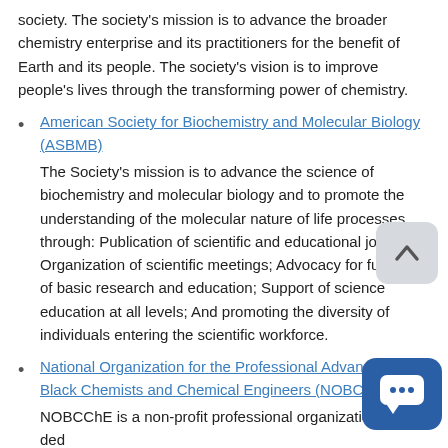society. The society's mission is to advance the broader chemistry enterprise and its practitioners for the benefit of Earth and its people. The society's vision is to improve people's lives through the transforming power of chemistry.
American Society for Biochemistry and Molecular Biology (ASBMB)
The Society's mission is to advance the science of biochemistry and molecular biology and to promote the understanding of the molecular nature of life processes through: Publication of scientific and educational journals; Organization of scientific meetings; Advocacy for funding of basic research and education; Support of science education at all levels; And promoting the diversity of individuals entering the scientific workforce.
National Organization for the Professional Advancement of Black Chemists and Chemical Engineers (NOBCChE)
NOBCChE is a non-profit professional organization dedicated to assisting black and other minority students and professionals in fully realizing their potential in academic, professional, and...